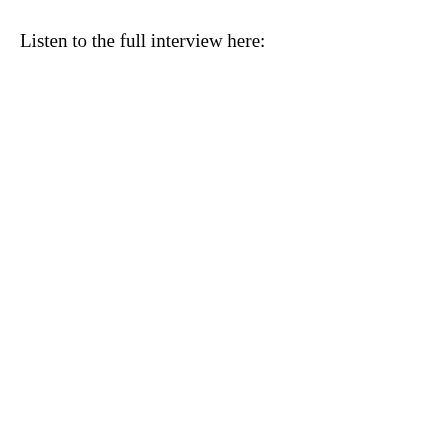Listen to the full interview here: